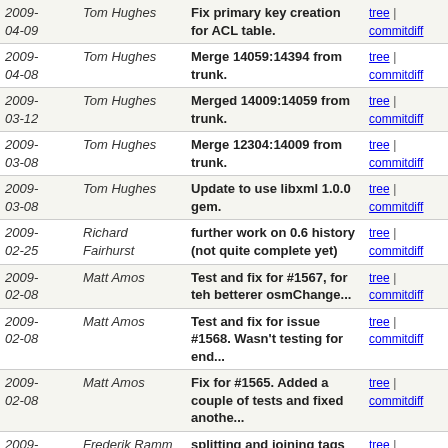| Date | Author | Message | Links |
| --- | --- | --- | --- |
| 2009-04-09 | Tom Hughes | Fix primary key creation for ACL table. | tree | commitdiff |
| 2009-04-08 | Tom Hughes | Merge 14059:14394 from trunk. | tree | commitdiff |
| 2009-03-12 | Tom Hughes | Merged 14009:14059 from trunk. | tree | commitdiff |
| 2009-03-08 | Tom Hughes | Merge 12304:14009 from trunk. | tree | commitdiff |
| 2009-03-08 | Tom Hughes | Update to use libxml 1.0.0 gem. | tree | commitdiff |
| 2009-02-25 | Richard Fairhurst | further work on 0.6 history (not quite complete yet) | tree | commitdiff |
| 2009-02-08 | Matt Amos | Test and fix for #1567, for teh betterer osmChange... | tree | commitdiff |
| 2009-02-08 | Matt Amos | Test and fix for issue #1568. Wasn't testing for end... | tree | commitdiff |
| 2009-02-08 | Matt Amos | Fix for #1565. Added a couple of tests and fixed anothe... | tree | commitdiff |
| 2009-02-03 | Frederik Ramm | splitting and joining tags is gone for good in 0.6 | tree | commitdiff |
| 2009-01-21 | Richard Fairhurst | eight zillion more presets for 0.5 Potlatch | tree | commitdiff |
| 2008-12-12 | Shaun McDonald | resync from rails_port 11795:12304 | tree | commitdiff |
| 2008-11-?? | Matt Amos | Moved changeset consistency... | tree | commitdiff |